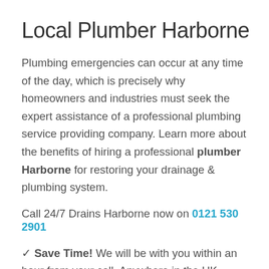Local Plumber Harborne
Plumbing emergencies can occur at any time of the day, which is precisely why homeowners and industries must seek the expert assistance of a professional plumbing service providing company. Learn more about the benefits of hiring a professional plumber Harborne for restoring your drainage & plumbing system.
Call 24/7 Drains Harborne now on 0121 530 2901
✓ Save Time! We will be with you within an hour from your call. Anywhere in the UK.